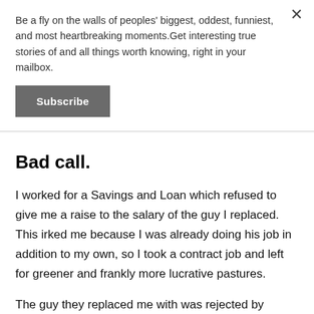Be a fly on the walls of peoples' biggest, oddest, funniest, and most heartbreaking moments.Get interesting true stories of and all things worth knowing, right in your mailbox.
Subscribe
Bad call.
I worked for a Savings and Loan which refused to give me a raise to the salary of the guy I replaced. This irked me because I was already doing his job in addition to my own, so I took a contract job and left for greener and frankly more lucrative pastures.
The guy they replaced me with was rejected by